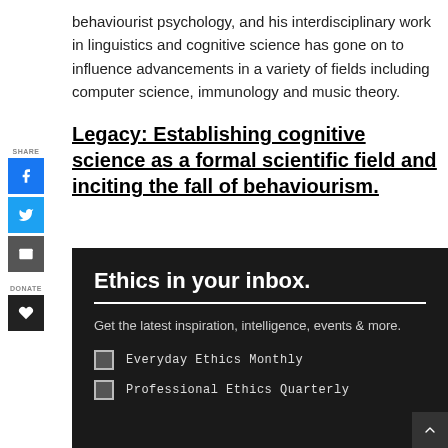behaviourist psychology, and his interdisciplinary work in linguistics and cognitive science has gone on to influence advancements in a variety of fields including computer science, immunology and music theory.
Legacy: Establishing cognitive science as a formal scientific field and inciting the fall of behaviourism.
Ethics in your inbox.
Get the latest inspiration, intelligence, events & more.
Everyday Ethics Monthly
Professional Ethics Quarterly